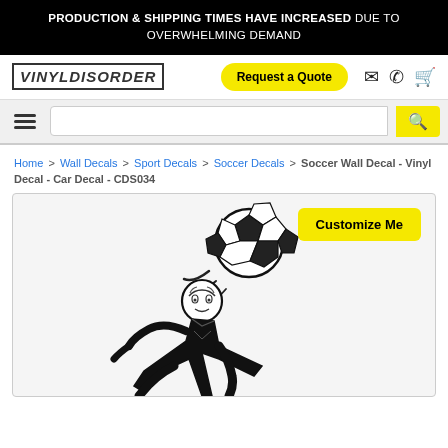PRODUCTION & SHIPPING TIMES HAVE INCREASED DUE TO OVERWHELMING DEMAND
[Figure (logo): Vinyl Disorder logo in blocky italic font with border]
Request a Quote
Home > Wall Decals > Sport Decals > Soccer Decals > Soccer Wall Decal - Vinyl Decal - Car Decal - CDS034
[Figure (illustration): Soccer player heading a ball - vinyl decal product illustration in black on light grey background. A yellow 'Customize Me' button appears in the upper right of the image area.]